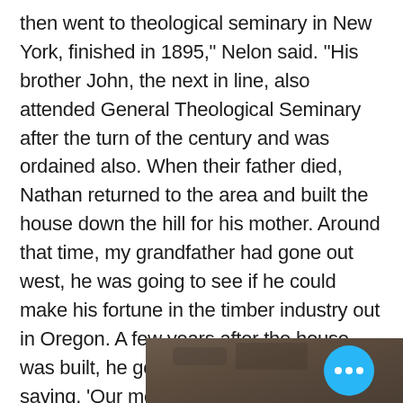then went to theological seminary in New York, finished in 1895," Nelon said. "His brother John, the next in line, also attended General Theological Seminary after the turn of the century and was ordained also. When their father died, Nathan returned to the area and built the house down the hill for his mother. Around that time, my grandfather had gone out west, he was going to see if he could make his fortune in the timber industry out in Oregon. A few years after the house was built, he got a letter from Nathan saying, 'Our mother and sister need you, come home!' And so he did."
[Figure (photo): Partial view of a dark-toned photograph, brownish-grey tones, appearing to show a surface or landscape, partially visible at the bottom of the page. A blue circular button with three white dots (more options) overlays the top-right area of the photo.]